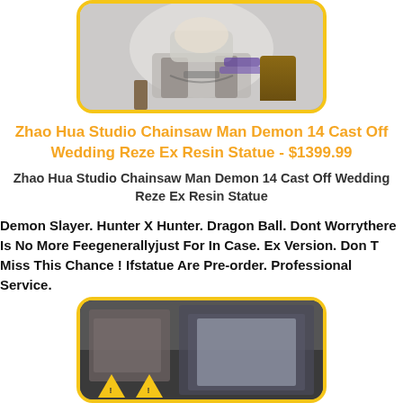[Figure (photo): Product photo showing a resin statue figure with purple and white details, partially cropped at top of page, displayed with a yellow rounded border]
Zhao Hua Studio Chainsaw Man Demon 14 Cast Off Wedding Reze Ex Resin Statue - $1399.99
Zhao Hua Studio Chainsaw Man Demon 14 Cast Off Wedding Reze Ex Resin Statue
Demon Slayer. Hunter X Hunter. Dragon Ball. Dont Worrythere Is No More Feegenerallyjust For In Case. Ex Version. Don T Miss This Chance ! Ifstatue Are Pre-order. Professional Service.
[Figure (photo): Product photo showing small figurines or statues in a display case or box, with yellow warning/triangle signs visible at the bottom, displayed with a yellow rounded border]